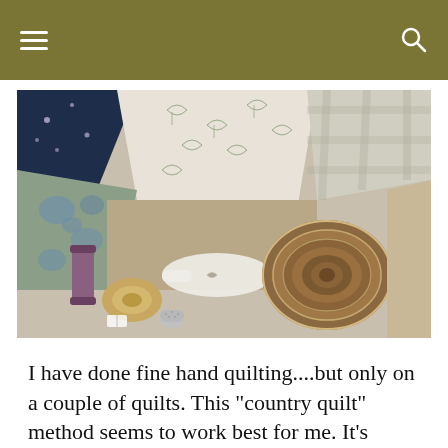[Figure (photo): Quilting supplies and fabric swatches on a table: various floral and patterned fabric pieces in blue, cream, and green tones; a purple/maroon thread spool; a spool of twine with a price tag; a silver thimble; a decorative ceramic spoon; and a rolled strip of brown fabric, all arranged together.]
I have done fine hand quilting....but only on a couple of quilts. This "country quilt" method seems to work best for me. It's